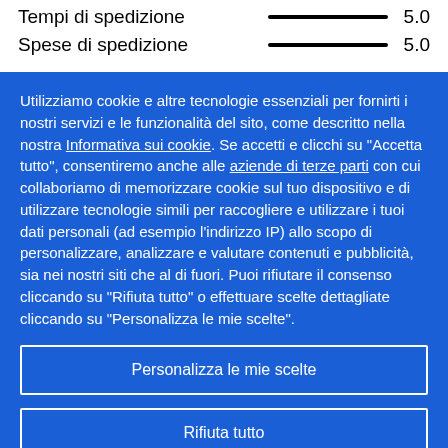Tempi di spedizione  5.0
Spese di spedizione  5.0
Utilizziamo cookie e altre tecnologie essenziali per fornirti i nostri servizi e le funzionalità del sito, come descritto nella nostra Informativa sui cookie. Se accetti e clicchi su "Accetta tutto", consentiremo anche alle aziende di terze parti con cui collaboriamo di memorizzare cookie sul tuo dispositivo e di utilizzare tecnologie simili per raccogliere e utilizzare i tuoi dati personali (ad esempio l'indirizzo IP) allo scopo di personalizzare, analizzare e valutare contenuti e pubblicità, sia nei nostri siti che al di fuori. Puoi rifiutare il consenso cliccando su "Rifiuta tutto" o effettuare scelte dettagliate cliccando su "Personalizza le mie scelte".
Personalizza le mie scelte
Rifiuta tutto
Accetta tutto